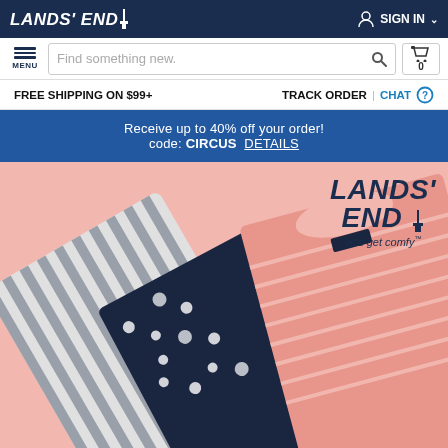[Figure (screenshot): Lands' End website header with logo, sign in button, search bar, menu, cart, free shipping info bar, promo banner with 40% off code CIRCUS, and hero image showing folded clothing items on pink background with Lands' End logo overlay]
LANDS' END
SIGN IN
MENU
Find something new.
0
FREE SHIPPING ON $99+
TRACK ORDER | CHAT
Receive up to 40% off your order!
code: CIRCUS  DETAILS
LANDS' END let's get comfy